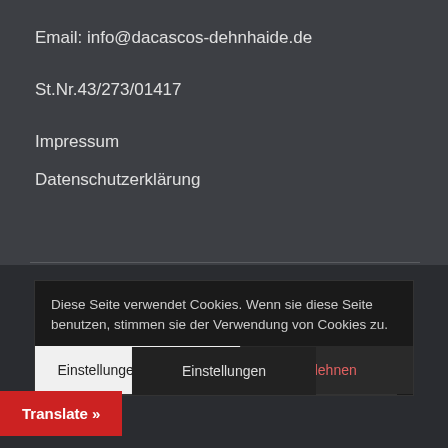Email: info@dacascos-dehnhaide.de
St.Nr.43/273/01417
Impressum
Datenschutzerklärung
ÖFFNUNGSZEITEN
Mo...
Dienstag...
Mittwoch: 21:00 – 21:00
Donnerstag: 9:00 – 13:00  21:30
19:30
Diese Seite verwendet Cookies. Wenn sie diese Seite benutzen, stimmen sie der Verwendung von Cookies zu.
Einstellungen akzeptieren
Ablehnen
Einstellungen
Translate »